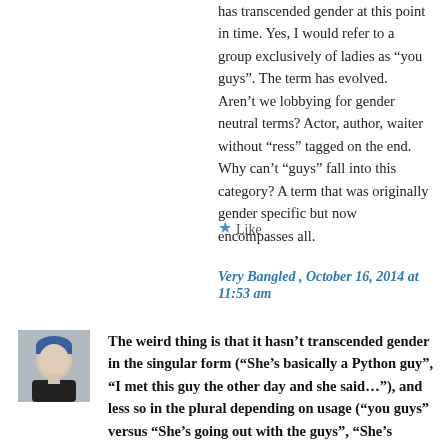has transcended gender at this point in time. Yes, I would refer to a group exclusively of ladies as “you guys”. The term has evolved.
Aren’t we lobbying for gender neutral terms? Actor, author, waiter without “ress” tagged on the end. Why can’t “guys” fall into this category? A term that was originally gender specific but now encompasses all.
★ Like
Very Bangled , October 16, 2014 at 11:53 am
The weird thing is that it hasn’t transcended gender in the singular form (“She’s basically a Python guy”, “I met this guy the other day and she said…”), and less so in the plural depending on usage (“you guys” versus “She’s going out with the guys”, “She’s basically one of the guys”, “That’s more of a guy thing” and so on). I’ve heard some people use “dude”